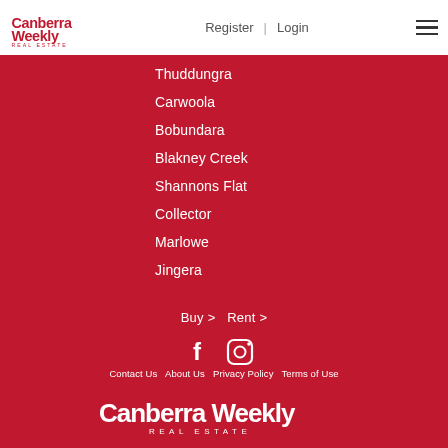Canberra Weekly Real Estate | Register | Login
Thuddungra
Carwoola
Bobundara
Blakney Creek
Shannons Flat
Collector
Marlowe
Jingera
Buy >  Rent >
[Figure (other): Facebook and Instagram social media icons]
Contact Us  About Us  Privacy Policy  Terms of Use
[Figure (logo): Canberra Weekly Real Estate logo in white]